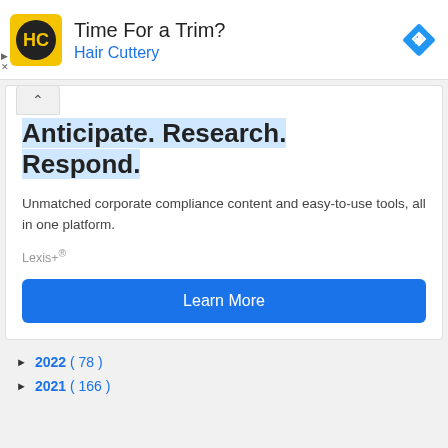[Figure (logo): Hair Cuttery logo — yellow square with HC initials in black circle, and navigation diamond icon]
Time For a Trim?
Hair Cuttery
Anticipate. Research. Respond.
Unmatched corporate compliance content and easy-to-use tools, all in one platform.
Lexis+®
Learn More
► 2022 ( 78 )
► 2021 ( 166 )